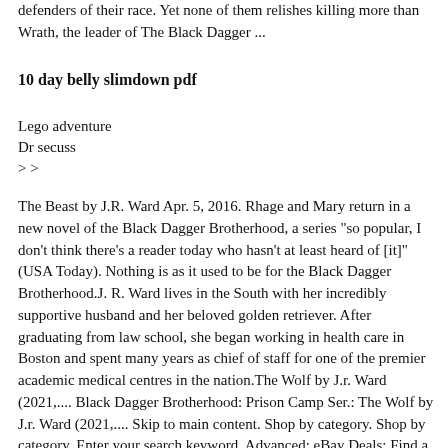defenders of their race. Yet none of them relishes killing more than Wrath, the leader of The Black Dagger ...
10 day belly slimdown pdf
Lego adventure
Dr secuss
> >
The Beast by J.R. Ward Apr. 5, 2016. Rhage and Mary return in a new novel of the Black Dagger Brotherhood, a series "so popular, I don't think there's a reader today who hasn't at least heard of [it]" (USA Today). Nothing is as it used to be for the Black Dagger Brotherhood.J. R. Ward lives in the South with her incredibly supportive husband and her beloved golden retriever. After graduating from law school, she began working in health care in Boston and spent many years as chief of staff for one of the premier academic medical centres in the nation.The Wolf by J.r. Ward (2021,.... Black Dagger Brotherhood: Prison Camp Ser.: The Wolf by J.r. Ward (2021,.... Skip to main content. Shop by category. Shop by category. Enter your search keyword. Advanced: eBay Deals; Find a Store; Help; Sell; Watch List Expand Watch list. Loading... Sign in to see your user information. My eBay Expand My eBay ...After avoiding war with the Shadows, alliances have shifted and lines have been drawn. The slayers of the